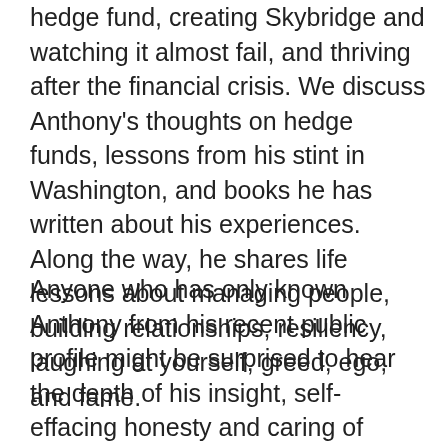hedge fund, creating Skybridge and watching it almost fail, and thriving after the financial crisis. We discuss Anthony's thoughts on hedge funds, lessons from his stint in Washington, and books he has written about his experiences. Along the way, he shares life lessons about managing people, building relationships, resiliency, laughing at yourself, greed, ego, and fame.
Anyone who has only known Anthony from his recent public profile might be surprised to hear the depth of his insight, self-effacing honesty and caring of others, alongside his irrepressible salesmanship. Those who have known him longer will recognize the same Mooch as always in all his splendor.